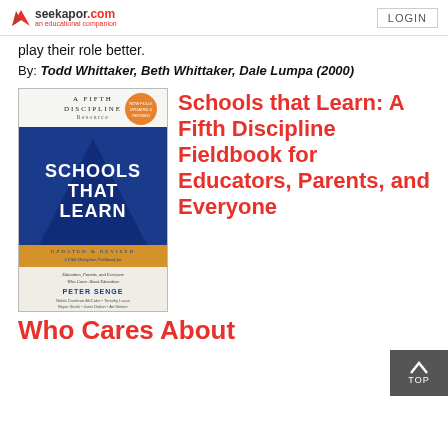seekapor.com an educational companion | LOGIN
play their role better.
By: Todd Whittaker, Beth Whittaker, Dale Lumpa (2000)
[Figure (photo): Book cover of 'Schools That Learn: A Fifth Discipline Fieldbook for Educators, Parents, and Everyone Who Cares About Education' by Peter Senge, Updated & Revised]
Schools that Learn: A Fifth Discipline Fieldbook for Educators, Parents, and Everyone Who Cares About Education (2000)
Who Cares About